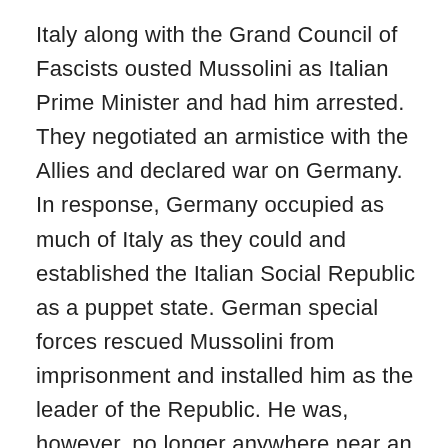Italy along with the Grand Council of Fascists ousted Mussolini as Italian Prime Minister and had him arrested. They negotiated an armistice with the Allies and declared war on Germany. In response, Germany occupied as much of Italy as they could and established the Italian Social Republic as a puppet state. German special forces rescued Mussolini from imprisonment and installed him as the leader of the Republic. He was, however, no longer anywhere near an equal partner of Hitler as his country was defended by German troops as much as Italian ones and the Germans, Croatians, even the Japanese took Italian European and colonial possessions. The Italian Social Republic was pushed up the Italian peninsula, losing Rome and then Revenna in 1944. The Allies broke through the Gothic line, the last defensive line in Northern Italy, in August of 1944 and